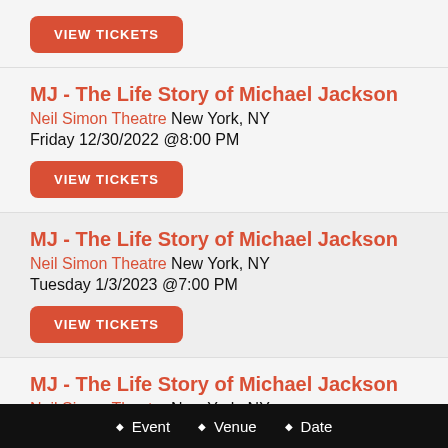[Figure (other): VIEW TICKETS button (red rounded rectangle)]
MJ - The Life Story of Michael Jackson
Neil Simon Theatre New York, NY
Friday 12/30/2022 @8:00 PM
[Figure (other): VIEW TICKETS button (red rounded rectangle)]
MJ - The Life Story of Michael Jackson
Neil Simon Theatre New York, NY
Tuesday 1/3/2023 @7:00 PM
[Figure (other): VIEW TICKETS button (red rounded rectangle)]
MJ - The Life Story of Michael Jackson
Neil Simon Theatre New York, NY
◆ Event ◆ Venue ◆ Date